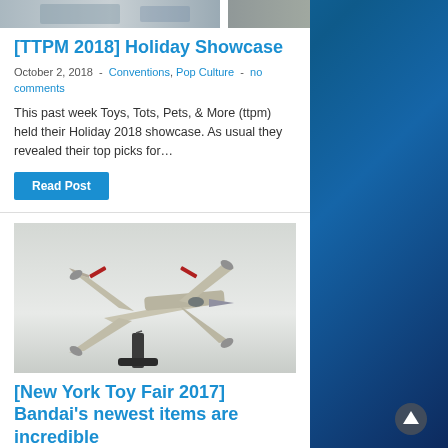[Figure (photo): Top strip image — partial photograph visible at top of page]
[TTPM 2018] Holiday Showcase
October 2, 2018  -  Conventions, Pop Culture  -  no comments
This past week Toys, Tots, Pets, & More (ttpm) held their Holiday 2018 showcase. As usual they revealed their top picks for…
Read Post
[Figure (photo): Star Wars X-wing fighter model on display stand, photographed at toy fair]
[New York Toy Fair 2017] Bandai's newest items are incredible